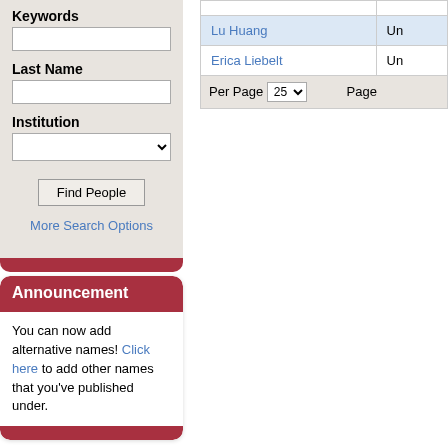Keywords
[input field]
Last Name
[input field]
Institution
[dropdown field]
Find People
More Search Options
Announcement
You can now add alternative names! Click here to add other names that you've published under.
| Name | Institution |
| --- | --- |
| Lu Huang | Un... |
| Erica Liebelt | Un... |
| Per Page 25 | Page... |